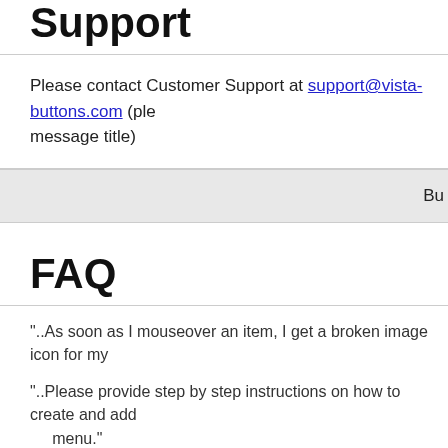Support
Please contact Customer Support at support@vista-buttons.com (plea... message title)
Bu...
FAQ
"..As soon as I mouseover an item,  I get a broken image icon for my...
"..Please provide step by step instructions on how to create and add... menu."
".. How do I call my custom javaScript with clicked after i have the w... buttons."
"..How can I set up Vista JavaScript Menu dreamweaver extension?"
".. Can site buttons be added to my existing web pages and how eas...